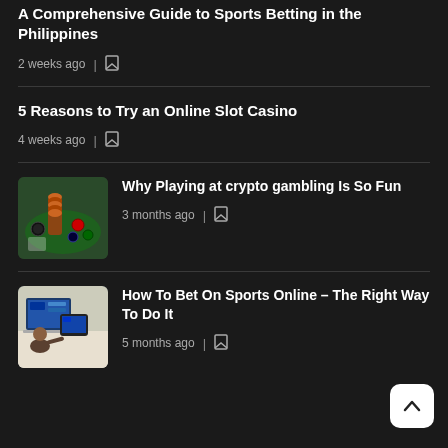A Comprehensive Guide to Sports Betting in the Philippines
2 weeks ago
5 Reasons to Try an Online Slot Casino
4 weeks ago
[Figure (photo): Casino chips and poker chips on a green felt table]
Why Playing at crypto gambling Is So Fun
3 months ago
[Figure (photo): Person using a laptop and tablet with sports betting interface]
How To Bet On Sports Online – The Right Way To Do It
5 months ago